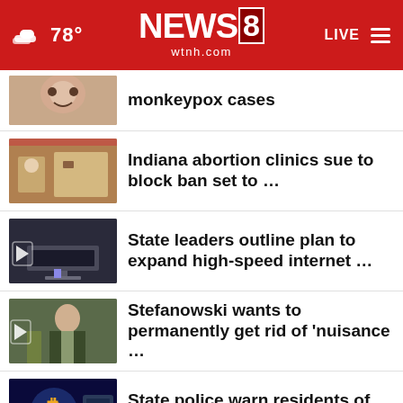NEWS8 wtnh.com — 78° LIVE
monkeypox cases
Indiana abortion clinics sue to block ban set to …
State leaders outline plan to expand high-speed internet …
Stefanowski wants to permanently get rid of 'nuisance …
State police warn residents of cryptocurrency scams
Mikhail Gorbachev, former Soviet president, dies